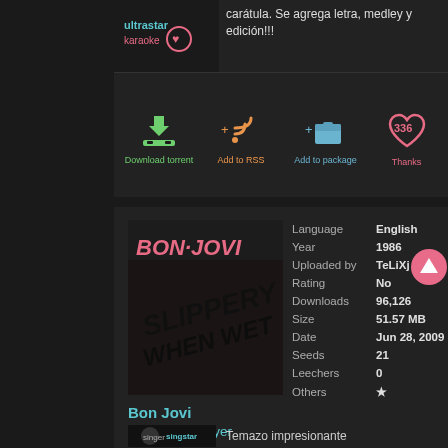[Figure (screenshot): UltraStar logo in dark box at top left]
carátula. Se agrega letra, medley y edición!!!
[Figure (infographic): Action buttons row: Download torrent (green), Add to RSS (orange), Add to package (blue), Thanks 336 (pink heart)]
[Figure (photo): Bon Jovi Slippery When Wet album art in dark theme]
| Field | Value |
| --- | --- |
| Language | English |
| Year | 1986 |
| Uploaded by | TeLiXj |
| Rating | No |
| Downloads | 96,126 |
| Size | 51.57 MB |
| Date | Jun 28, 2009 |
| Seeds | 21 |
| Leechers | 0 |
| Others | ★ |
Bon Jovi
Livin' on a Prayer
[Figure (photo): SingStar thumbnail with female singer and logo]
Temazo impresionante